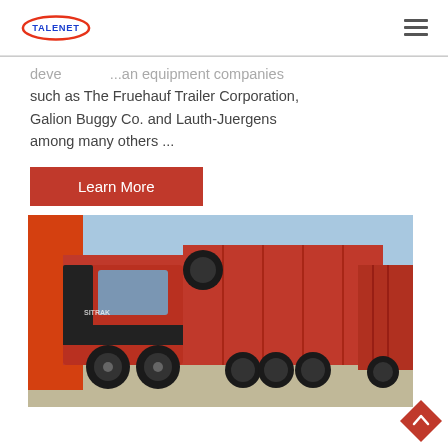TALENET [logo] [hamburger menu]
deve... ...an equipment companies such as The Fruehauf Trailer Corporation, Galion Buggy Co. and Lauth-Juergens among many others ...
Learn More
[Figure (photo): Red dump trucks (SITRAK brand) parked in a lot with orange wall in background and blue sky visible]
[Figure (other): Orange diamond-shaped back-to-top button with upward chevron]